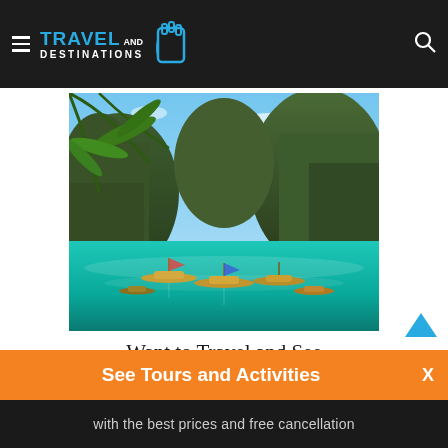Travel and Destinations
[Figure (photo): Tropical bay with long-tail boats on turquoise water, limestone cliffs in background, palm frond in upper left corner]
Want to Travel and See More of the World? Here’s How…
RELATED ARTICLES
[Figure (photo): Partial thumbnail image at bottom of page, dark/partially visible]
See Tours and Activities
with the best prices and free cancellation